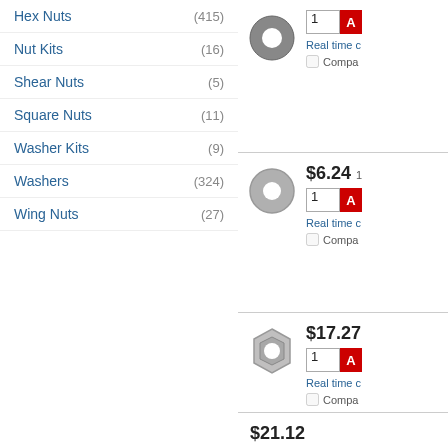Hex Nuts (415)
Nut Kits (16)
Shear Nuts (5)
Square Nuts (11)
Washer Kits (9)
Washers (324)
Wing Nuts (27)
[Figure (photo): Ring/washer hardware product image]
$6.24
Real time c
Compa
[Figure (photo): Flat washer hardware product image]
$6.24 1
Real time c
Compa
[Figure (photo): Hex nut hardware product image]
$17.27
Real time c
Compa
$21.12